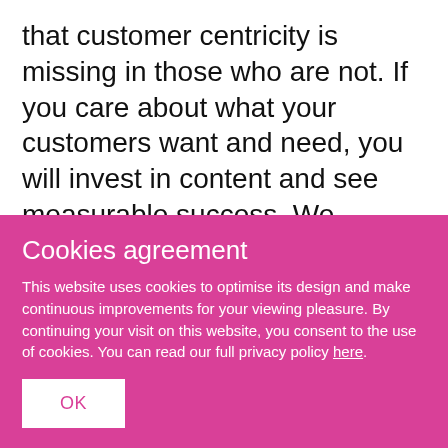that customer centricity is missing in those who are not. If you care about what your customers want and need, you will invest in content and see measurable success. We always tell our customers to focus on their customers and not their competitors.
Do companies struggle with
Cookies agreement
This website uses cookies to optimise its design and make continuous improvements for your viewing pleasure. By continuing your visit on this website, you consent to the use of cookies. You can read our full privacy policy here.